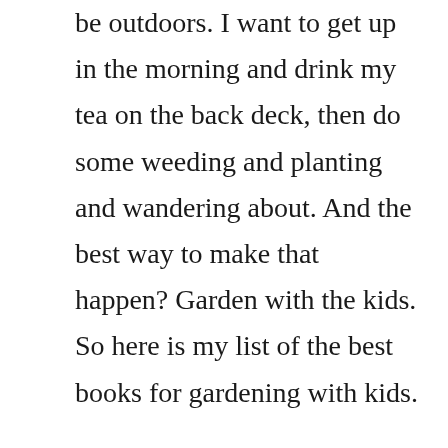be outdoors. I want to get up in the morning and drink my tea on the back deck, then do some weeding and planting and wandering about. And the best way to make that happen? Garden with the kids. So here is my list of the best books for gardening with kids.

Each morning in the spring, I wake up to the birds singing. Last Friday, I awoke to a bird call and immediately knew the orioles were back! Those beautiful orange and black birds whose sound fills the woods. As I lay there listening, the calls kept